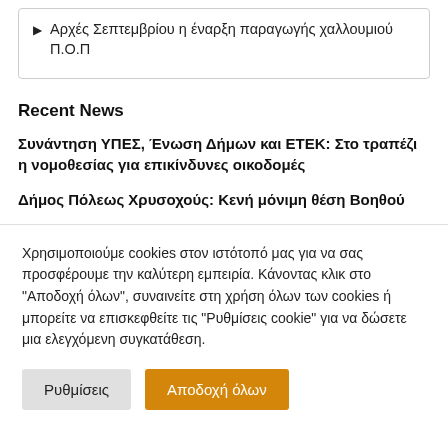Αρχές Σεπτεμβρίου η έναρξη παραγωγής χαλλουμιού Π.Ο.Π
Recent News
Συνάντηση ΥΠΕΣ, Ένωση Δήμων και ΕΤΕΚ: Στο τραπέζι η νομοθεσίας για επικίνδυνες οικοδομές
Δήμος Πόλεως Χρυσοχούς: Κενή μόνιμη θέση Βοηθού
Χρησιμοποιούμε cookies στον ιστότοπό μας για να σας προσφέρουμε την καλύτερη εμπειρία. Κάνοντας κλικ στο "Αποδοχή όλων", συναινείτε στη χρήση όλων των cookies ή μπορείτε να επισκεφθείτε τις "Ρυθμίσεις cookie" για να δώσετε μια ελεγχόμενη συγκατάθεση.